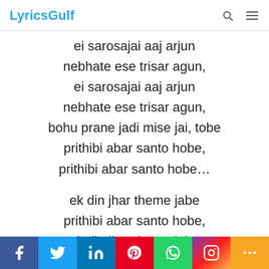LyricsGulf
ei sarosajai aaj arjun
nebhate ese trisar agun,
ei sarosajai aaj arjun
nebhate ese trisar agun,
bohu prane jadi mise jai, tobe
prithibi abar santo hobe,
prithibi abar santo hobe…
ek din jhar theme jabe
prithibi abar santo hobe,
ek din jhar theme jabe
prithibi abar santo hobe,